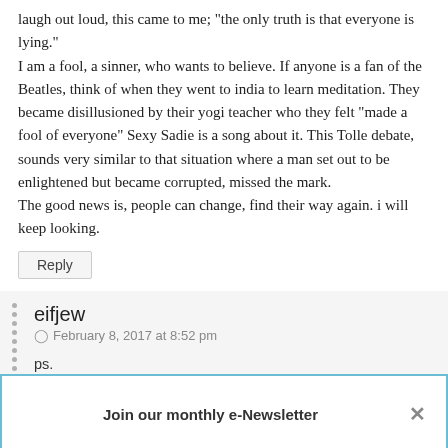laugh out loud, this came to me; "the only truth is that everyone is lying."
I am a fool, a sinner, who wants to believe. If anyone is a fan of the Beatles, think of when they went to india to learn meditation. They became disillusioned by their yogi teacher who they felt "made a fool of everyone" Sexy Sadie is a song about it. This Tolle debate, sounds very similar to that situation where a man set out to be enlightened but became corrupted, missed the mark.
The good news is, people can change, find their way again. i will keep looking.
Reply
eifjew
February 8, 2017 at 8:52 pm
ps.
and about all those vulgar sophistry about money, mental not material … well, they deserve only a funeral pyre.
But I can not blame them all the way. A person who leads the mob does it
can be guide
manipulator
Join our monthly e-Newsletter